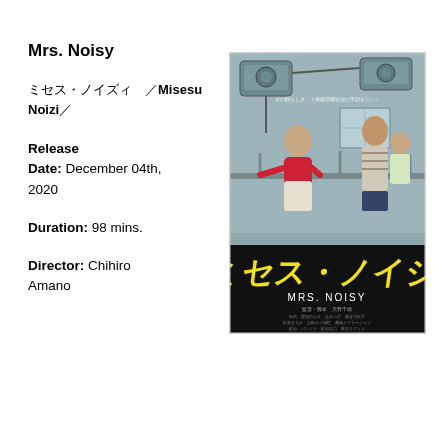Mrs. Noisy
ミセス・ノイズィ　／Misesu Noizi／
Release Date: December 04th, 2020
Duration: 98 mins.
Director: Chihiro Amano
[Figure (photo): Movie poster for Mrs. Noisy (ミセス・ノイジー) showing two women on an apartment balcony with Japanese text and yellow stylized title lettering at the bottom reading MRS. NOISY]